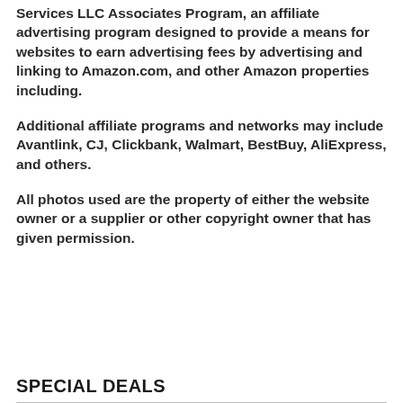Services LLC Associates Program, an affiliate advertising program designed to provide a means for websites to earn advertising fees by advertising and linking to Amazon.com, and other Amazon properties including.
Additional affiliate programs and networks may include Avantlink, CJ, Clickbank, Walmart, BestBuy, AliExpress, and others.
All photos used are the property of either the website owner or a supplier or other copyright owner that has given permission.
SPECIAL DEALS